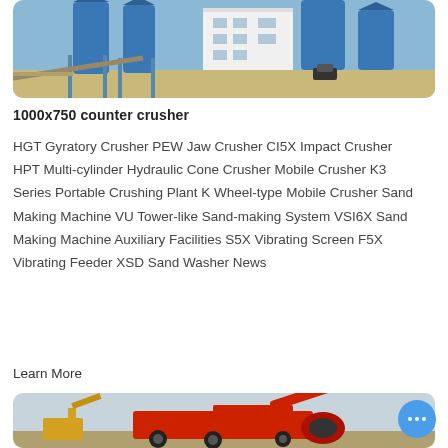[Figure (photo): Industrial concrete batching plant with blue steel silos and a white multi-story building, photographed outdoors on a clear day.]
1000x750 counter crusher
HGT Gyratory Crusher PEW Jaw Crusher CI5X Impact Crusher HPT Multi-cylinder Hydraulic Cone Crusher Mobile Crusher K3 Series Portable Crushing Plant K Wheel-type Mobile Crusher Sand Making Machine VU Tower-like Sand-making System VSI6X Sand Making Machine Auxiliary Facilities S5X Vibrating Screen F5X Vibrating Feeder XSD Sand Washer News
Learn More
[Figure (photo): Red heavy-duty mobile crushing and screening machinery photographed outdoors with excavators visible in the background under a hazy sky.]